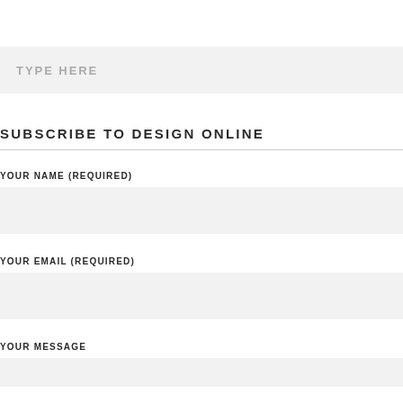TYPE HERE
SUBSCRIBE TO DESIGN ONLINE
YOUR NAME (REQUIRED)
YOUR EMAIL (REQUIRED)
YOUR MESSAGE